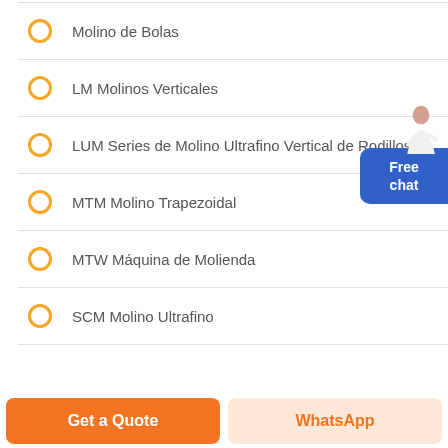Molino de Bolas
LM Molinos Verticales
LUM Series de Molino Ultrafino Vertical de Rodillos
MTM Molino Trapezoidal
MTW Máquina de Molienda
SCM Molino Ultrafino